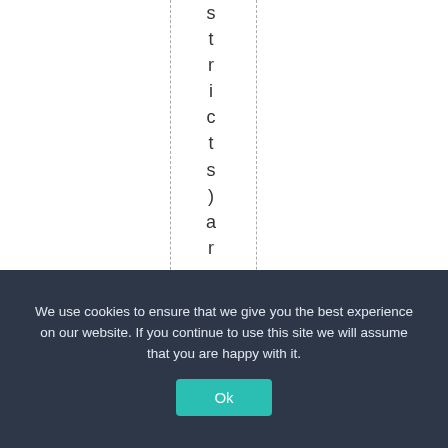s t r i c t s ) a r e r u n n i n g
We use cookies to ensure that we give you the best experience on our website. If you continue to use this site we will assume that you are happy with it.